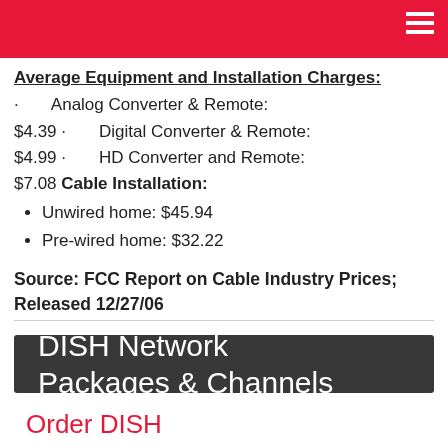Average Equipment and Installation Charges:
Analog Converter & Remote: $4.39 · Digital Converter & Remote: $4.99 · HD Converter and Remote: $7.08
Cable Installation:
Unwired home: $45.94
Pre-wired home: $32.22
Source: FCC Report on Cable Industry Prices; Released 12/27/06
DISH Network Packages & Channels
Order DISH